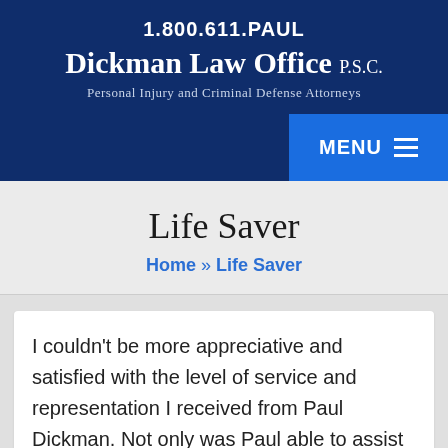1.800.611.PAUL
Dickman Law Office P.S.C.
Personal Injury and Criminal Defense Attorneys
Life Saver
Home » Life Saver
I couldn't be more appreciative and satisfied with the level of service and representation I received from Paul Dickman. Not only was Paul able to assist in getting the judge to